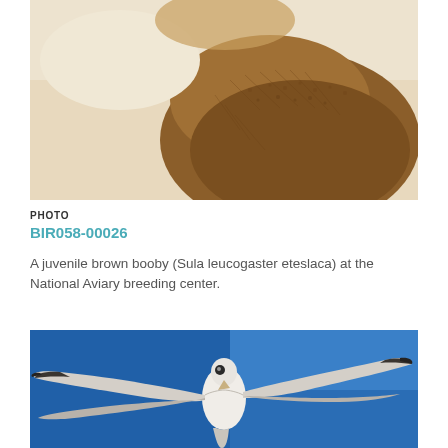[Figure (photo): Close-up of a juvenile brown booby bird with brown and white plumage against a light beige background, photographed from the side/back angle.]
PHOTO
BIR058-00026
A juvenile brown booby (Sula leucogaster eteslaca) at the National Aviary breeding center.
[Figure (photo): A brown booby seabird in flight against a deep blue sky, photographed from below showing wings fully extended with white underbelly and dark wing tips.]